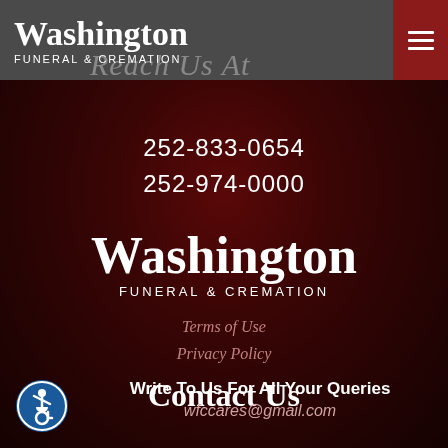Washington FUNERAL & CREMATION
Reach Us At
252-833-0654
252-974-0000
[Figure (logo): Washington Funeral & Cremation logo in white text on dark red background]
Terms of Use
Privacy Policy
Contact Us
[Figure (illustration): Accessibility icon — blue circle with white wheelchair user symbol]
Write To Us For All Your Queries
wfccares@gmail.com